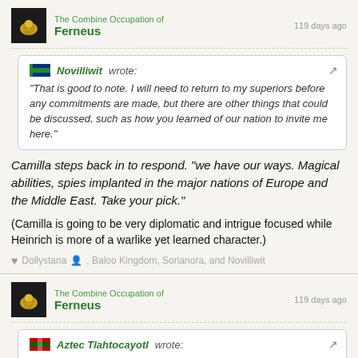The Combine Occupation of Ferneus
Novilliwit wrote: "That is good to note. I will need to return to my superiors before any commitments are made, but there are other things that could be discussed, such as how you learned of our nation to invite me here."
Camilla steps back in to respond. "we have our ways. Magical abilities, spies implanted in the major nations of Europe and the Middle East. Take your pick."
(Camilla is going to be very diplomatic and intrigue focused while Heinrich is more of a warlike yet learned character.)
Dollystana, Baloo Kingdom, Sorianora, and Novilliwit
The Combine Occupation of Ferneus
Aztec Tlahtocayotl wrote: After a slew of different counterspells and tallying up of results, Alvius says to him "It appears you type is new to us, but bears some similarities to the magic used by a civilization we met 2,000 years ago, but they have died out by now. Now that you have helped us, we shall now reciprocate. What boons do you wish